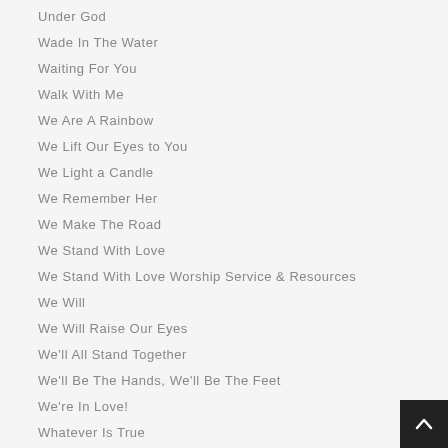Under God
Wade In The Water
Waiting For You
Walk With Me
We Are A Rainbow
We Lift Our Eyes to You
We Light a Candle
We Remember Her
We Make The Road
We Stand With Love
We Stand With Love Worship Service & Resources
We Will
We Will Raise Our Eyes
We'll All Stand Together
We'll Be The Hands, We'll Be The Feet
We're In Love!
Whatever Is True
When Heaven Comes To Earth
When I Lose Myself